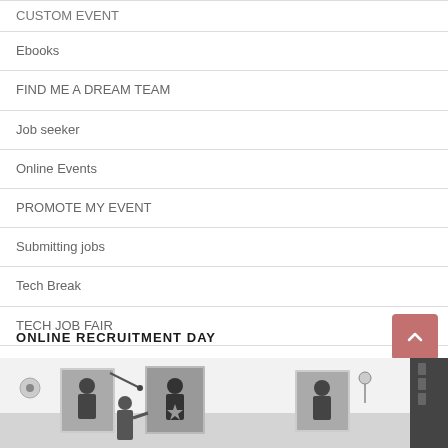CUSTOM EVENT
Ebooks
FIND ME A DREAM TEAM
Job seeker
Online Events
PROMOTE MY EVENT
Submitting jobs
Tech Break
TECH JOB FAIR
ONLINE RECRUITMENT DAY
[Figure (photo): Black and white photo of people at a recruitment/job fair event, showing exhibition-style poster displays and attendees]